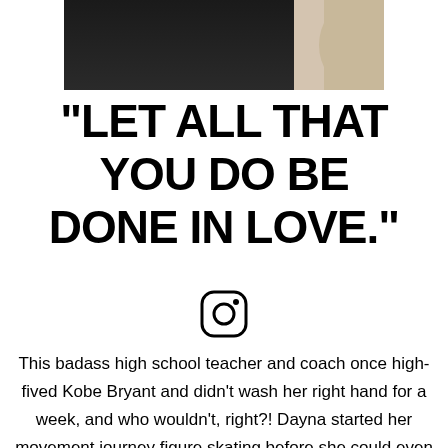[Figure (photo): Cropped photo showing bottom portion of a person in dark clothing with a hand/fist visible on the right side]
"LET ALL THAT YOU DO BE DONE IN LOVE."
[Figure (logo): Instagram logo icon (camera outline)]
This badass high school teacher and coach once high-fived Kobe Bryant and didn't wash her right hand for a week, and who wouldn't, right?! Dayna started her movement journey figure skating before she could even walk and skated competitively for 12 years. She then, started